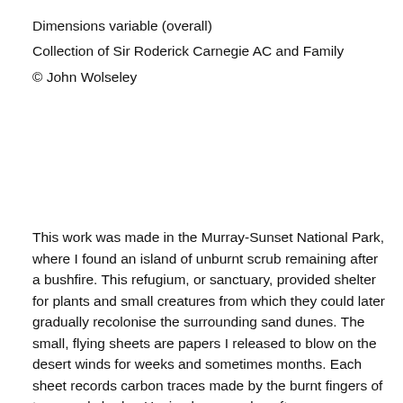Dimensions variable (overall)
Collection of Sir Roderick Carnegie AC and Family
© John Wolseley
This work was made in the Murray-Sunset National Park, where I found an island of unburnt scrub remaining after a bushfire. This refugium, or sanctuary, provided shelter for plants and small creatures from which they could later gradually recolonise the surrounding sand dunes. The small, flying sheets are papers I released to blow on the desert winds for weeks and sometimes months. Each sheet records carbon traces made by the burnt fingers of trees and shrubs. Having been made soft